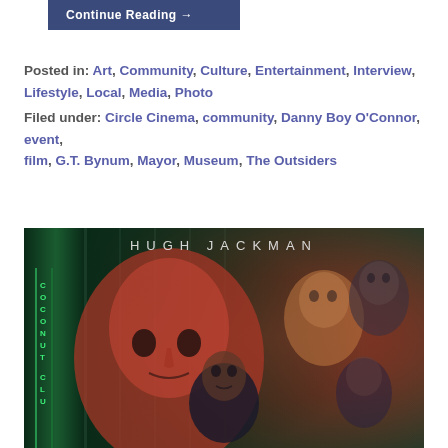Continue Reading →
Posted in: Art, Community, Culture, Entertainment, Interview, Lifestyle, Local, Media, Photo
Filed under: Circle Cinema, community, Danny Boy O'Connor, event, film, G.T. Bynum, Mayor, Museum, The Outsiders
[Figure (photo): Movie poster for a Hugh Jackman film, showing dramatic red and green toned imagery of faces including a woman in the foreground and a man in the center, with 'COCONUT CLU' signage visible on the left side]